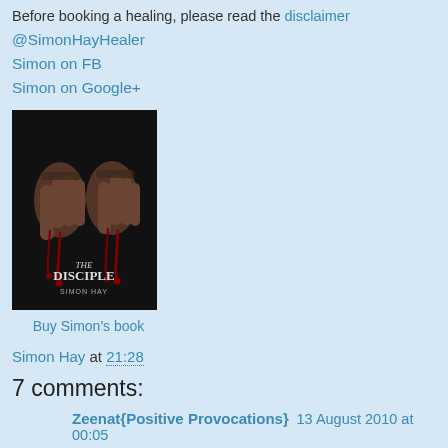Before booking a healing, please read the disclaimer
@SimonHayHealer
Simon on FB
Simon on Google+
[Figure (photo): Book cover of 'The Disciple' by Simon Hay — dark background showing two hands with blood dripping]
Buy Simon's book
Simon Hay at 21:28
7 comments:
Zeenat{Positive Provocations}  13 August 2010 at 00:05